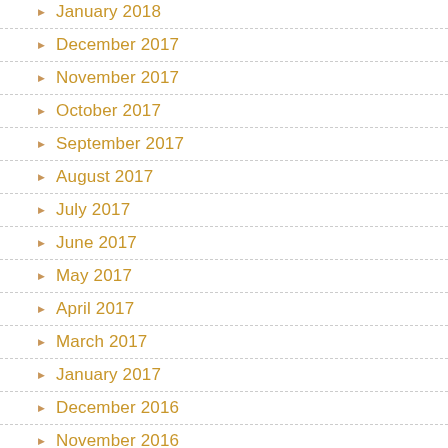December 2017
November 2017
October 2017
September 2017
August 2017
July 2017
June 2017
May 2017
April 2017
March 2017
January 2017
December 2016
November 2016
October 2016